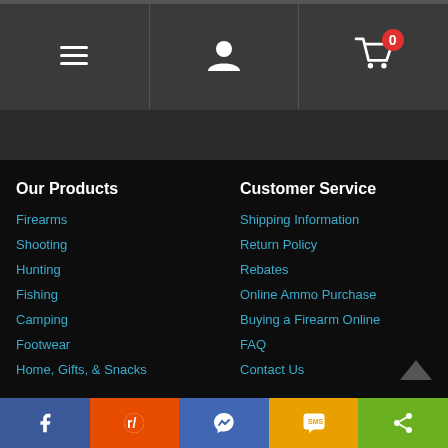[Figure (screenshot): Top navigation bar with hamburger menu icon, user account icon, and shopping cart icon with badge showing 0]
Our Products
Firearms
Shooting
Hunting
Fishing
Camping
Footwear
Home, Gifts, & Snacks
Customer Service
Shipping Information
Return Policy
Rebates
Online Ammo Purchase
Buying a Firearm Online
FAQ
Contact Us
[Figure (screenshot): Social sharing bar with Facebook, Reddit, Messenger, SMS, and Share buttons]